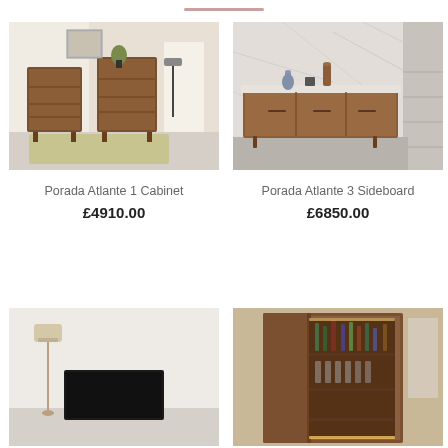[Figure (photo): Two walnut chest of drawers / cabinets in a living room setting]
[Figure (photo): Walnut sideboard with marble top in a contemporary interior]
Porada Atlante 1 Cabinet
Porada Atlante 3 Sideboard
£4910.00
£6850.00
[Figure (photo): Floor lamp next to a fireplace / TV unit in a minimal interior]
[Figure (photo): Open walnut bar cabinet with illuminated interior shelves holding bottles and glasses]